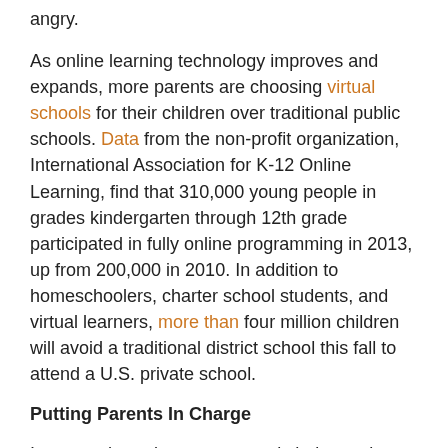angry.
As online learning technology improves and expands, more parents are choosing virtual schools for their children over traditional public schools. Data from the non-profit organization, International Association for K-12 Online Learning, find that 310,000 young people in grades kindergarten through 12th grade participated in fully online programming in 2013, up from 200,000 in 2010. In addition to homeschoolers, charter school students, and virtual learners, more than four million children will avoid a traditional district school this fall to attend a U.S. private school.
Putting Parents In Charge
In states that advocate parental choice and actively expand education options to more families, student enrollment in traditional public schools is declining. When given real choices, parents are deciding to avoid an